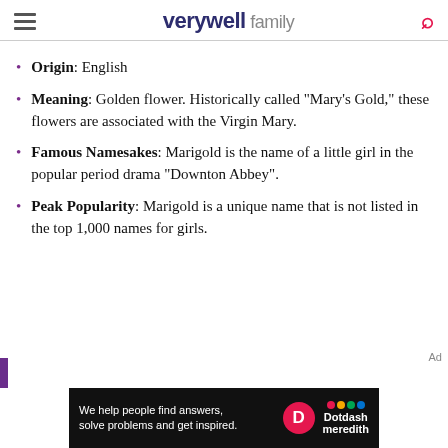verywell family
Origin: English
Meaning: Golden flower. Historically called "Mary's Gold," these flowers are associated with the Virgin Mary.
Famous Namesakes: Marigold is the name of a little girl in the popular period drama "Downton Abbey".
Peak Popularity: Marigold is a unique name that is not listed in the top 1,000 names for girls.
[Figure (screenshot): Advertisement banner: Dotdash Meredith - We help people find answers, solve problems and get inspired.]